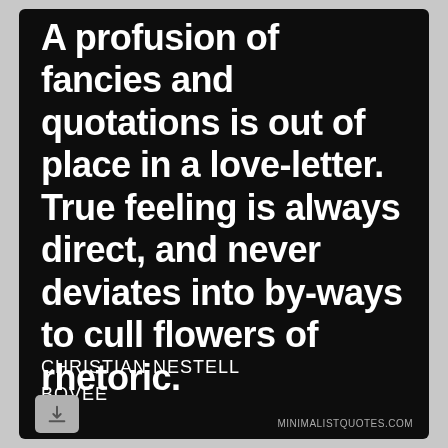A profusion of fancies and quotations is out of place in a love-letter. True feeling is always direct, and never deviates into by-ways to cull flowers of rhetoric.
CHRISTIAN NESTELL BOVEE
MINIMALISTQUOTES.COM